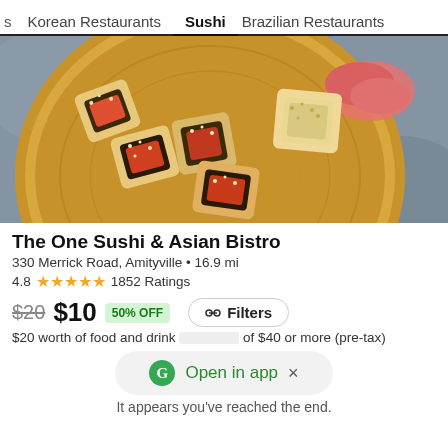s  Korean Restaurants  Sushi  Brazilian Restaurants
[Figure (photo): Top-down photo of sushi rolls with sesame seeds arranged on a round wooden plate on a gray stone surface, with pickled ginger visible]
The One Sushi & Asian Bistro
330 Merrick Road, Amityville • 16.9 mi
4.8 ★★★★★ 1852 Ratings
$20  $10  50% OFF
$20 worth of food and drink ... of $40 or more (pre-tax)
Filters
G Open in app  ×
It appears you've reached the end.